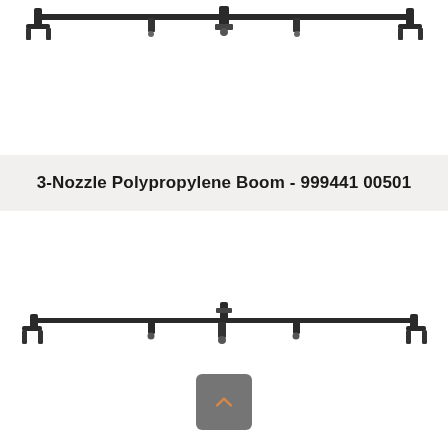[Figure (engineering-diagram): Top view of a 3-nozzle polypropylene spray boom, shown partially cropped at top of page. The boom is a horizontal bar with mounting brackets at each end and two downward nozzle fittings.]
3-Nozzle Polypropylene Boom - 999441 00501
[Figure (engineering-diagram): Full front view of a 3-nozzle polypropylene spray boom. Horizontal bar with end caps that curve downward, a center inlet fitting at top center, and three nozzle bodies positioned along the boom including ends and center.]
[Figure (other): Back/up navigation button: grey rounded square with an orange chevron pointing upward.]